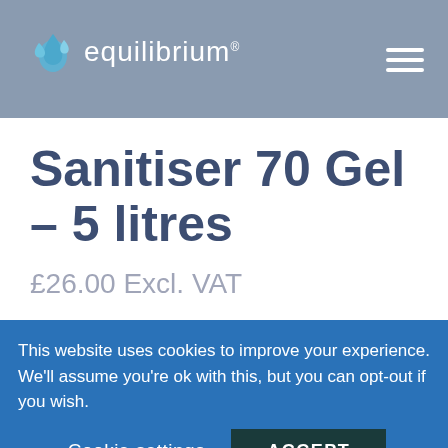[Figure (logo): Equilibrium logo with water droplet icon and brand name text]
Sanitiser 70 Gel – 5 litres
£26.00 Excl. VAT
This website uses cookies to improve your experience. We'll assume you're ok with this, but you can opt-out if you wish.
Cookie settings   ACCEPT